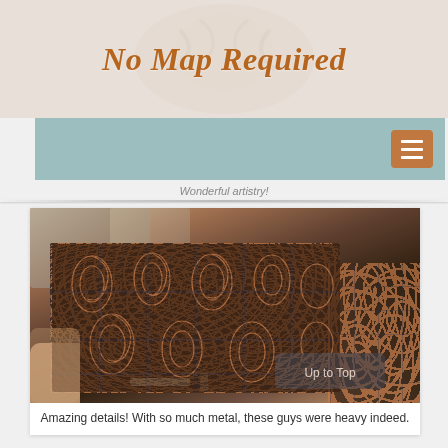No Map Required
Wonderful artistry!
[Figure (photo): Hand holding an intricately carved decorative metal/wood block print with detailed paisley patterns, surrounded by similar blocks and tools in a workshop setting]
Amazing details! With so much metal, these guys were heavy indeed.